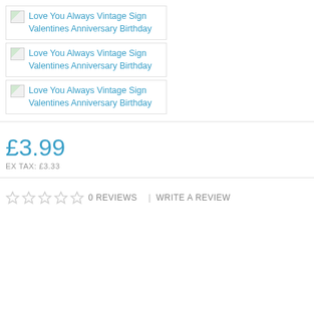[Figure (photo): Thumbnail image placeholder (broken image icon) with link text: Love You Always Vintage Sign Valentines Anniversary Birthday]
[Figure (photo): Thumbnail image placeholder (broken image icon) with link text: Love You Always Vintage Sign Valentines Anniversary Birthday]
[Figure (photo): Thumbnail image placeholder (broken image icon) with link text: Love You Always Vintage Sign Valentines Anniversary Birthday]
£3.99
EX TAX: £3.33
0 REVIEWS | WRITE A REVIEW